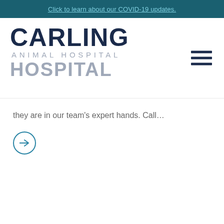Click to learn about our COVID-19 updates.
[Figure (logo): Carling Animal Hospital logo: large dark navy CARLING text, smaller grey ANIMAL HOSPITAL text below]
they are in our team’s expert hands. Call…
[Figure (other): Circular arrow button pointing right]